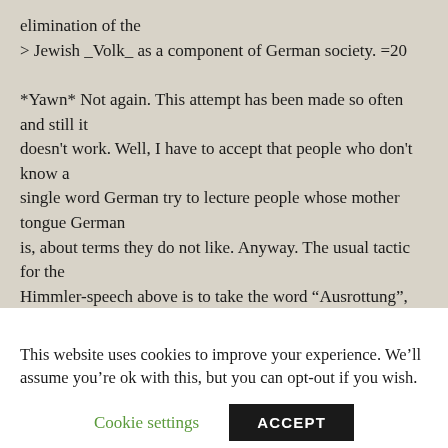elimination of the
> Jewish _Volk_ as a component of German society. =20

*Yawn* Not again. This attempt has been made so often and still it doesn't work. Well, I have to accept that people who don't know a single word German try to lecture people whose mother tongue German is, about terms they do not like. Anyway. The usual tactic for the Himmler-speech above is to take the word “Ausrottung”, translate it
This website uses cookies to improve your experience. We’ll assume you’re ok with this, but you can opt-out if you wish.
Cookie settings   ACCEPT